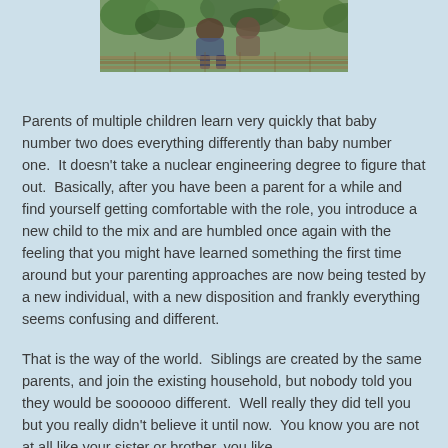[Figure (photo): Partial view of a photograph showing people on a wooden deck or boardwalk outdoors, with green trees/foliage in the background. Only the bottom portion of the photo is visible.]
Parents of multiple children learn very quickly that baby number two does everything differently than baby number one.  It doesn't take a nuclear engineering degree to figure that out.  Basically, after you have been a parent for a while and find yourself getting comfortable with the role, you introduce a new child to the mix and are humbled once again with the feeling that you might have learned something the first time around but your parenting approaches are now being tested by a new individual, with a new disposition and frankly everything seems confusing and different.
That is the way of the world.  Siblings are created by the same parents, and join the existing household, but nobody told you they would be soooooo different.  Well really they did tell you but you really didn't believe it until now.  You know you are not at all like your sister or brother, you like